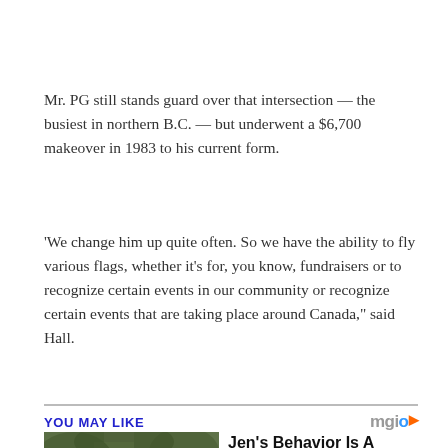Mr. PG still stands guard over that intersection — the busiest in northern B.C. — but underwent a $6,700 makeover in 1983 to his current form.
'We change him up quite often. So we have the ability to fly various flags, whether it's for, you know, fundraisers or to recognize certain events in our community or recognize certain events that are taking place around Canada,' said Hall.
YOU MAY LIKE
[Figure (photo): Photo of a woman with long blonde hair against a green leafy background]
Jen's Behavior Is A Clear Indicator That She's Not Approachable
Brainberries